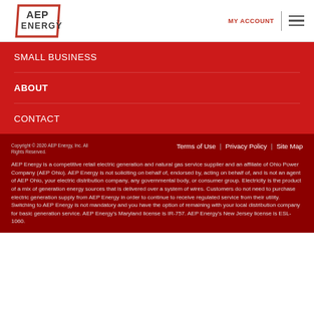[Figure (logo): AEP Energy logo — red parallelogram outline with AEP ENERGY text]
MY ACCOUNT
SMALL BUSINESS
ABOUT
CONTACT
Copyright © 2020 AEP Energy, Inc. All Rights Reserved.
Terms of Use | Privacy Policy | Site Map
AEP Energy is a competitive retail electric generation and natural gas service supplier and an affiliate of Ohio Power Company (AEP Ohio). AEP Energy is not soliciting on behalf of, endorsed by, acting on behalf of, and is not an agent of AEP Ohio, your electric distribution company, any governmental body, or consumer group. Electricity is the product of a mix of generation energy sources that is delivered over a system of wires. Customers do not need to purchase electric generation supply from AEP Energy in order to continue to receive regulated service from their utility. Switching to AEP Energy is not mandatory and you have the option of remaining with your local distribution company for basic generation service. AEP Energy's Maryland license is IR-757. AEP Energy's New Jersey license is ESL-1060.